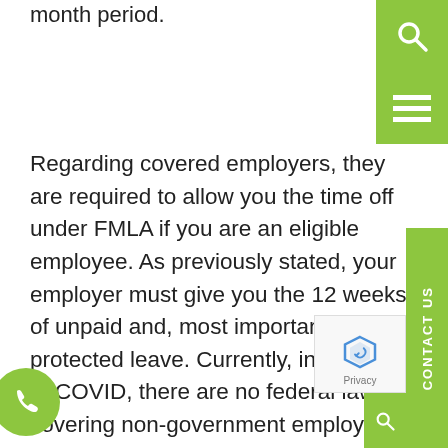month period.
Regarding covered employers, they are required to allow you the time off under FMLA if you are an eligible employee. As previously stated, your employer must give you the 12 weeks of unpaid and, most importantly, job-protected leave. Currently, in regards to COVID, there are no federal laws covering non-government employees who must take off time to care for their healthy children if they are released fro